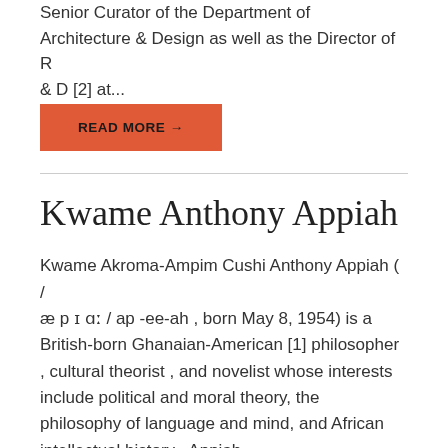Senior Curator of the Department of Architecture & Design as well as the Director of R & D [2] at...
READ MORE →
Kwame Anthony Appiah
Kwame Akroma-Ampim Cushi Anthony Appiah ( / æ p ɪ ɑː / ap -ee-ah , born May 8, 1954) is a British-born Ghanaian-American [1] philosopher , cultural theorist , and novelist whose interests include political and moral theory, the philosophy of language and mind, and African intellectual history . Appiah...
READ MORE →